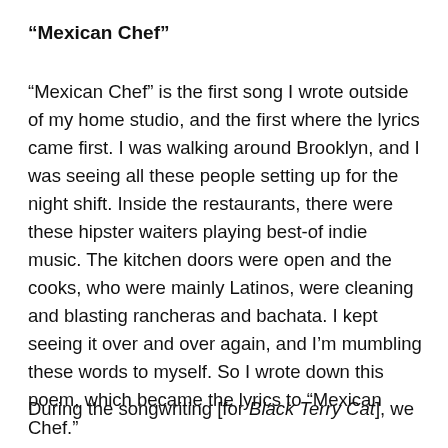“Mexican Chef”
“Mexican Chef” is the first song I wrote outside of my home studio, and the first where the lyrics came first. I was walking around Brooklyn, and I was seeing all these people setting up for the night shift. Inside the restaurants, there were these hipster waiters playing best-of indie music. The kitchen doors were open and the cooks, who were mainly Latinos, were cleaning and blasting rancheras and bachata. I kept seeing it over and over again, and I’m mumbling these words to myself. So I wrote down this poem, which became the lyrics to “Mexican Chef.”
During the songwriting [for Black Terry Cat], we